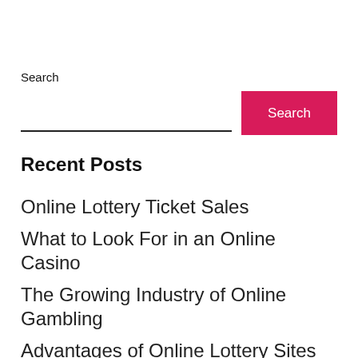Search
Recent Posts
Online Lottery Ticket Sales
What to Look For in an Online Casino
The Growing Industry of Online Gambling
Advantages of Online Lottery Sites
The Advantages of Playing at a Single